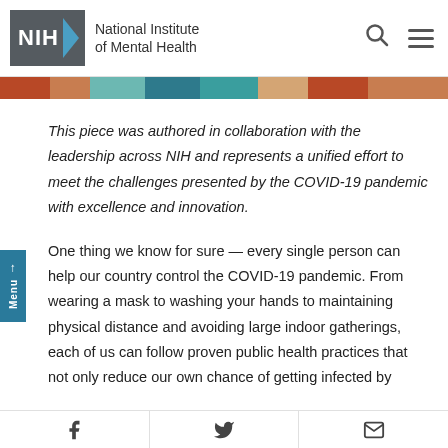NIH - National Institute of Mental Health
[Figure (photo): Colorful image strip showing diverse people]
This piece was authored in collaboration with the leadership across NIH and represents a unified effort to meet the challenges presented by the COVID-19 pandemic with excellence and innovation.
One thing we know for sure — every single person can help our country control the COVID-19 pandemic. From wearing a mask to washing your hands to maintaining physical distance and avoiding large indoor gatherings, each of us can follow proven public health practices that not only reduce our own chance of getting infected by
Share on Facebook | Share on Twitter | Share via Email